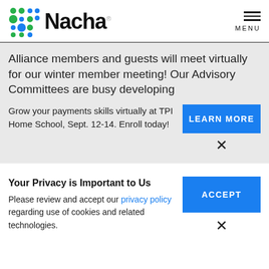[Figure (logo): Nacha logo with colored dot grid pattern and Nacha wordmark]
MENU
Alliance members and guests will meet virtually for our winter member meeting! Our Advisory Committees are busy developing
Grow your payments skills virtually at TPI Home School, Sept. 12-14. Enroll today!
LEARN MORE
×
Your Privacy is Important to Us
Please review and accept our privacy policy regarding use of cookies and related technologies.
ACCEPT
×